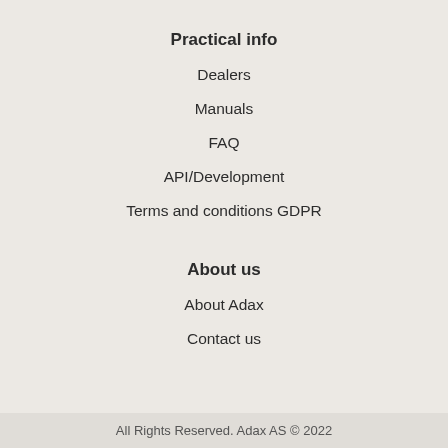Practical info
Dealers
Manuals
FAQ
API/Development
Terms and conditions GDPR
About us
About Adax
Contact us
All Rights Reserved. Adax AS © 2022